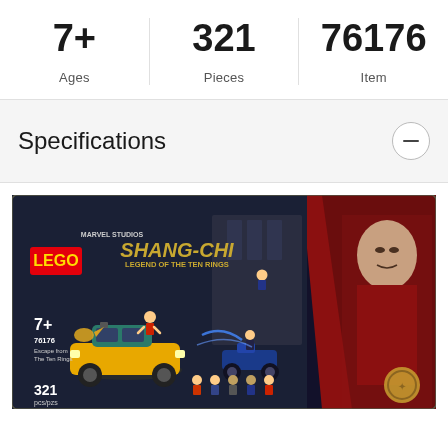7+
Ages
321
Pieces
76176
Item
Specifications
[Figure (photo): LEGO Shang-Chi Legend of the Ten Rings set box (item 76176), showing a yellow car, motorcycle, minifigures, and Shang-Chi character art. Labeled 7+, 76176, 321 pcs/pzs.]